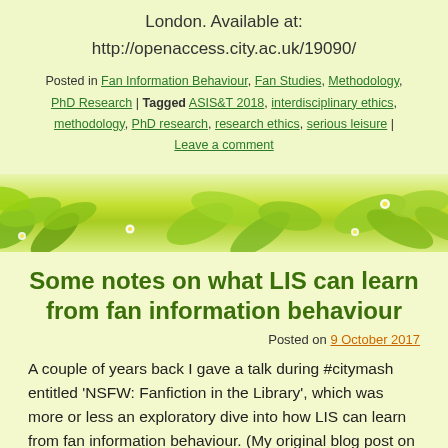London. Available at:
http://openaccess.city.ac.uk/19090/
Posted in Fan Information Behaviour, Fan Studies, Methodology, PhD Research | Tagged ASIS&T 2018, interdisciplinary ethics, methodology, PhD research, research ethics, serious leisure | Leave a comment
[Figure (illustration): Decorative green leaf and flower border strip dividing two blog post sections]
Some notes on what LIS can learn from fan information behaviour
Posted on 9 October 2017
A couple of years back I gave a talk during #citymash entitled 'NSFW: Fanfiction in the Library', which was more or less an exploratory dive into how LIS can learn from fan information behaviour. (My original blog post on this event can be found here. You can